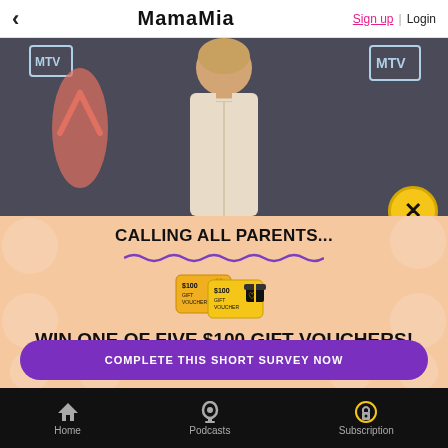MamaMia  Sign up | Login
[Figure (photo): Celebrity woman at MTV event red carpet, blonde hair, wearing light-colored halter dress, dark background with MTV logos]
[Figure (illustration): Two golden $100 gift voucher cards with gift box icon]
CALLING ALL PARENTS...
WIN ONE OF FIVE $100 GIFT VOUCHERS!
COMPLETE THIS SHORT SURVEY NOW
Home  Podcasts  Subscription